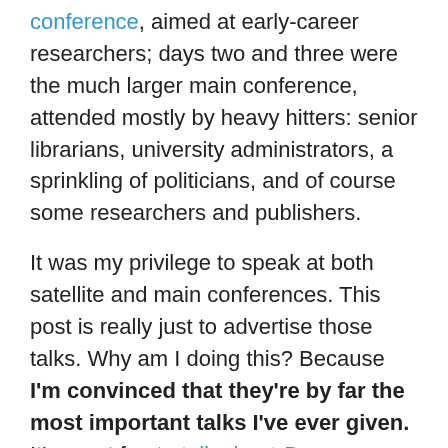conference, aimed at early-career researchers; days two and three were the much larger main conference, attended mostly by heavy hitters: senior librarians, university administrators, a sprinkling of politicians, and of course some researchers and publishers.
It was my privilege to speak at both satellite and main conferences. This post is really just to advertise those talks. Why am I doing this? Because I'm convinced that they're by far the most important talks I've ever given. It's great fun to talk about Barosaurus at SVPCA, or about intervertebral cartilage in Bonn, but if someone says to me that that work doesn't really matter in a cosmic sense, I'll be hard put to find reasons why they're wrong. But open access has profound and immediate consequences for health, industry, education, third-world